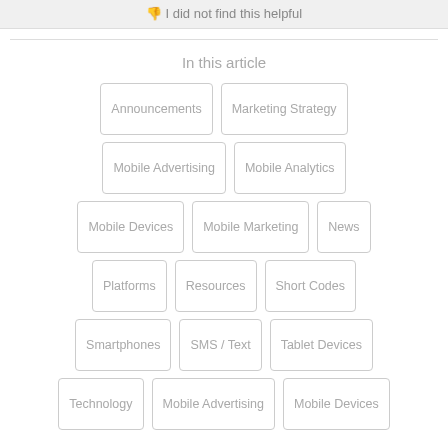👎 I did not find this helpful
In this article
Announcements
Marketing Strategy
Mobile Advertising
Mobile Analytics
Mobile Devices
Mobile Marketing
News
Platforms
Resources
Short Codes
Smartphones
SMS / Text
Tablet Devices
Technology
Mobile Advertising
Mobile Devices